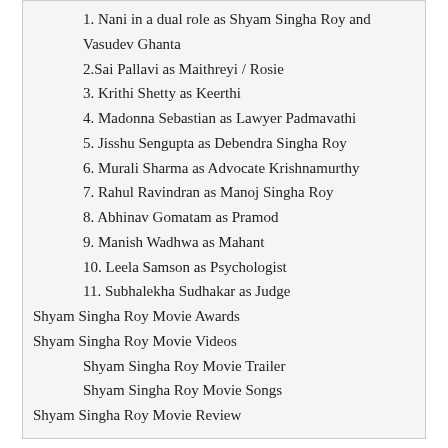1. Nani in a dual role as Shyam Singha Roy and Vasudev Ghanta
2.Sai Pallavi as Maithreyi / Rosie
3. Krithi Shetty as Keerthi
4. Madonna Sebastian as Lawyer Padmavathi
5. Jisshu Sengupta as Debendra Singha Roy
6. Murali Sharma as Advocate Krishnamurthy
7. Rahul Ravindran as Manoj Singha Roy
8. Abhinav Gomatam as Pramod
9. Manish Wadhwa as Mahant
10. Leela Samson as Psychologist
11. Subhalekha Sudhakar as Judge
Shyam Singha Roy Movie Awards
Shyam Singha Roy Movie Videos
Shyam Singha Roy Movie Trailer
Shyam Singha Roy Movie Songs
Shyam Singha Roy Movie Review
Shyam Singha Roy Movie Storyline
Vasu (Nani) is attempting to develop a short film in order to pursue